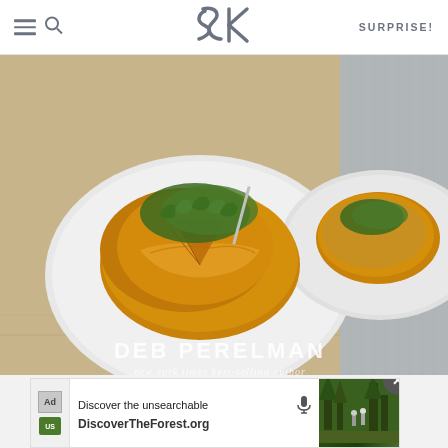SK — SURPRISE!
[Figure (photo): Book cover photo showing a frittata or potato dish on a white plate with green arugula garnish, by Deb Perelman, New York Times best-selling author. Cookbook shown at an angle.]
AS AN AMAZON ASSOCIATE I EARN FROM QUALIFYING PURCHASES.
©2009–2022 SMITTEN KITCHEN. PROUDLY POWERED BY WORDPRESS.
HOSTED BY PRESSABLE
[Figure (screenshot): Ad banner for DiscoverTheForest.org with text: Discover the unsearchable. DiscoverTheForest.org. Forest photo with people in background. Close button (X) in top-right corner.]